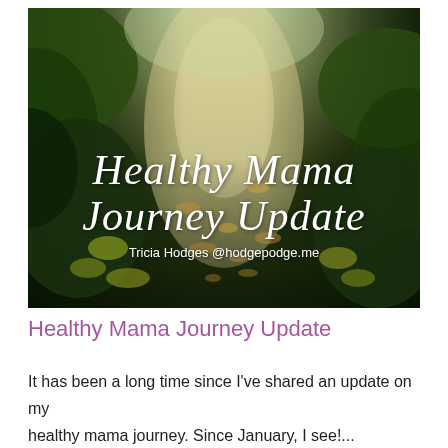[Figure (photo): A forest trail path covered with autumn leaves and stones, lit from above, with green foliage on the sides. Overlaid with cursive white text reading 'Healthy Mama Journey Update' and byline 'Tricia Hodges @hodgepodge.me'.]
Healthy Mama Journey Update
It has been a long time since I've shared an update on my healthy mama journey. Since January, I see!...